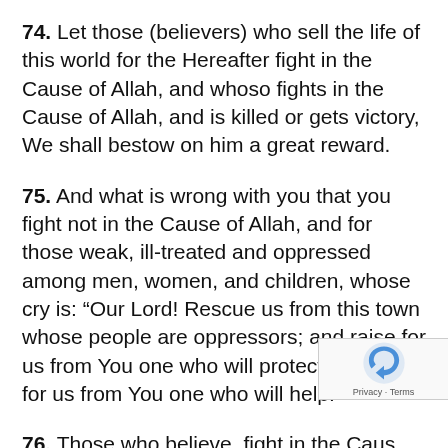74. Let those (believers) who sell the life of this world for the Hereafter fight in the Cause of Allah, and whoso fights in the Cause of Allah, and is killed or gets victory, We shall bestow on him a great reward.
75. And what is wrong with you that you fight not in the Cause of Allah, and for those weak, ill-treated and oppressed among men, women, and children, whose cry is: “Our Lord! Rescue us from this town whose people are oppressors; and raise for us from You one who will protect, and raise for us from You one who will help.”
76. Those who believe, fight in the Cause of Allah, and those who disbelieve, fight in the cause of Taghut (Satan, etc.) So fight you
[Figure (other): reCAPTCHA logo overlay in bottom-right corner with 'Privacy - Terms' text]